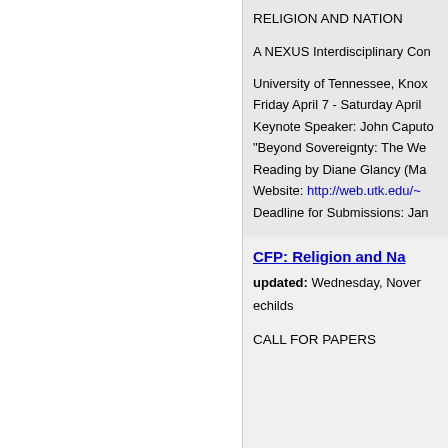RELIGION AND NATION
A NEXUS Interdisciplinary Con
University of Tennessee, Knox
Friday April 7 - Saturday April
Keynote Speaker: John Caputo
"Beyond Sovereignty: The We
Reading by Diane Glancy (Ma
Website: http://web.utk.edu/~
Deadline for Submissions: Jan
CFP: Religion and Na
updated: Wednesday, Nover
echilds
CALL FOR PAPERS